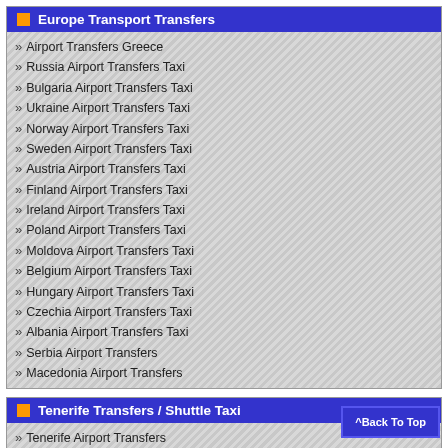Europe Transport Transfers
Airport Transfers Greece
Russia Airport Transfers Taxi
Bulgaria Airport Transfers Taxi
Ukraine Airport Transfers Taxi
Norway Airport Transfers Taxi
Sweden Airport Transfers Taxi
Austria Airport Transfers Taxi
Finland Airport Transfers Taxi
Ireland Airport Transfers Taxi
Poland Airport Transfers Taxi
Moldova Airport Transfers Taxi
Belgium Airport Transfers Taxi
Hungary Airport Transfers Taxi
Czechia Airport Transfers Taxi
Albania Airport Transfers Taxi
Serbia Airport Transfers
Macedonia Airport Transfers
Tenerife Transfers / Shuttle Taxi
Tenerife Airport Transfers
Tenerife Taxi Services
Tenerife Tours | Excursions
Tenerife Airport Shuttle - Buses Tenerife
Tenerife Limousines - VTC
Tenerife Car Rentals